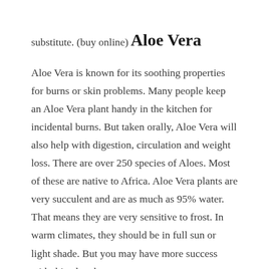substitute. (buy online)
Aloe Vera
Aloe Vera is known for its soothing properties for burns or skin problems. Many people keep an Aloe Vera plant handy in the kitchen for incidental burns. But taken orally, Aloe Vera will also help with digestion, circulation and weight loss. There are over 250 species of Aloes. Most of these are native to Africa. Aloe Vera plants are very succulent and are as much as 95% water. That means they are very sensitive to frost. In warm climates, they should be in full sun or light shade. But you may have more success with this plant by